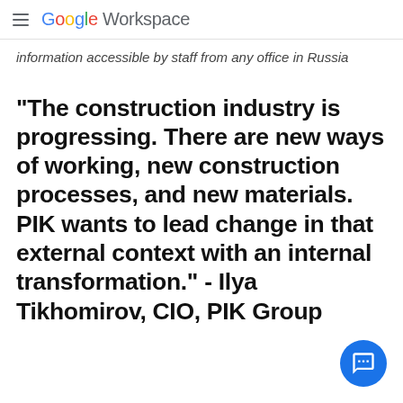Google Workspace
information accessible by staff from any office in Russia
“The construction industry is progressing. There are new ways of working, new construction processes, and new materials. PIK wants to lead change in that external context with an internal transformation.” - Ilya Tikhomirov, CIO, PIK Group